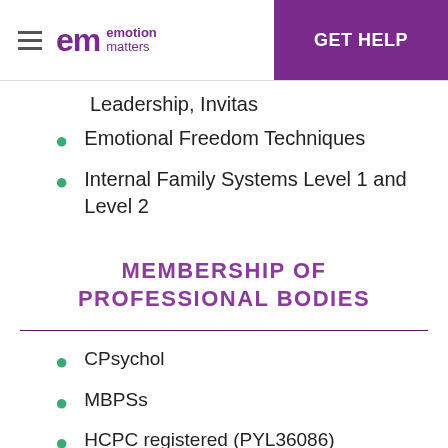em emotion matters | GET HELP
Leadership, Invitas
Emotional Freedom Techniques
Internal Family Systems Level 1 and Level 2
MEMBERSHIP OF PROFESSIONAL BODIES
CPsychol
MBPSs
HCPC registered (PYL36086)